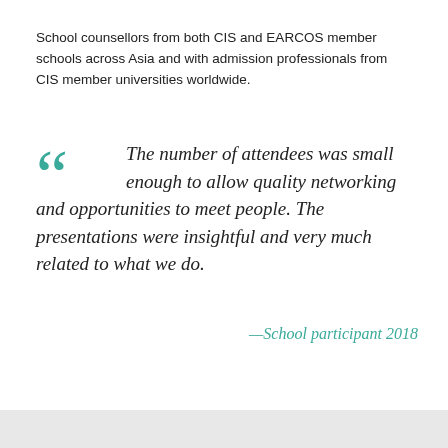School counsellors from both CIS and EARCOS member schools across Asia and with admission professionals from CIS member universities worldwide.
The number of attendees was small enough to allow quality networking and opportunities to meet people. The presentations were insightful and very much related to what we do.
—School participant 2018